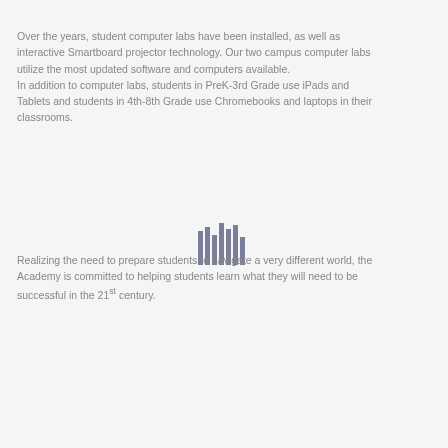Over the years, student computer labs have been installed, as well as interactive Smartboard projector technology. Our two campus computer labs utilize the most updated software and computers available.
In addition to computer labs, students in PreK-3rd Grade use iPads and Tablets and students in 4th-8th Grade use Chromebooks and laptops in their classrooms.
Realizing the need to prepare students to navigate a very different world, the Academy is committed to helping students learn what they will need to be successful in the 21st century.
...